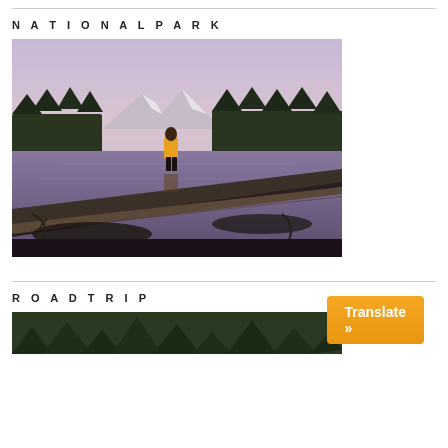NATIONALPARK
[Figure (photo): Person in yellow jacket standing on fallen log over a reflective lake at dusk, with snow-capped mountains and pine forest in background, purple-pink sky]
ROADTRIP
[Figure (photo): Partial view of road trip scene, forest/nature]
Translate »